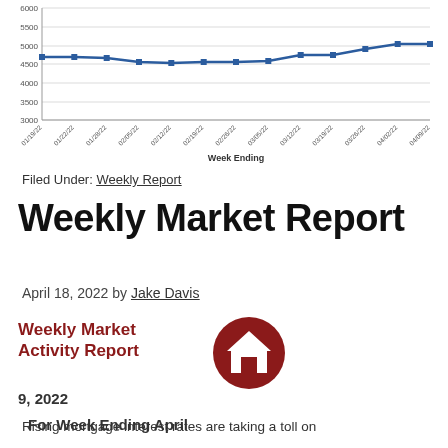[Figure (line-chart): ]
Filed Under: Weekly Report
Weekly Market Report
April 18, 2022 by Jake Davis
[Figure (infographic): Weekly Market Activity Report logo with dark red house icon circle. Text reads: Weekly Market Activity Report. For Week Ending April 9, 2022]
Rising mortgage interest rates are taking a toll on